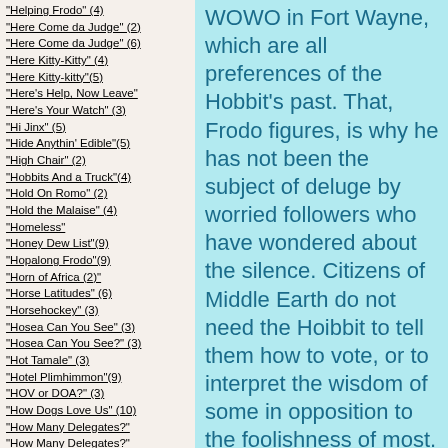"Helping Frodo" (4)
"Here Come da Judge" (2)
"Here Come da Judge" (6)
"Here Kitty-Kitty" (4)
"Here Kitty-kitty"(5)
"Here's Help, Now Leave"
"Here's Your Watch" (3)
"Hi Jinx" (5)
"Hide Anythin' Edible"(5)
"High Chair" (2)
"Hobbits And a Truck"(4)
"Hold On Romo" (2)
"Hold the Malaise" (4)
"Homeless"
"Honey Dew List"(9)
"Hopalong Frodo"(9)
"Horn of Africa (2)"
"Horse Latitudes" (6)
"Horsehockey" (3)
"Hosea Can You See" (3)
"Hosea Can You See?" (3)
"Hot Tamale" (3)
"Hotel Plimhimmon"(9)
"HOV or DOA?" (3)
"How Dogs Love Us" (10)
"How Many Delegates?"
"How Many Delegates?" (3)
WOWO in Fort Wayne, which are all preferences of the Hobbit's past. That, Frodo figures, is why he has not been the subject of deluge by worried followers who have wondered about the silence. Citizens of Middle Earth do not need the Hoibbit to tell them how to vote, or to interpret the wisdom of some in opposition to the foolishness of most. The Men of Gondor and the Riders of Rohan need a good laugh, a tender memory, or even a tear or two to give each of them a moment to similarly take a deep breath, and thus to decide the path in the yellow wood. Frodo has returned,